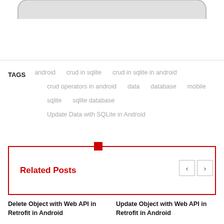[Figure (illustration): Bottom portion of a phone/device UI shape with rounded rectangle, partially cropped at top]
TAGS    android    crud in sqlite    crud in sqlite in android    crud operators in android    data    database    mobile    sqlite    sqlite database    Update Data with SQLite in Android
Related Posts
Delete Object with Web API in Retrofit in Android
Update Object with Web API in Retrofit in Android